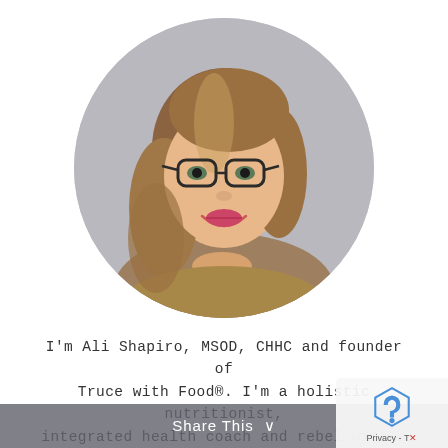[Figure (photo): Circular portrait photo of a smiling woman with long brown hair, glasses, wearing a gold/bronze sleeveless top and a watch, hands clasped near chin, on a grey background.]
I'm Ali Shapiro, MSOD, CHHC and founder of Truce with Food®. I'm a holistic nutritionist, integrated health coach and rebel with a serious cause.
Share This  ∨